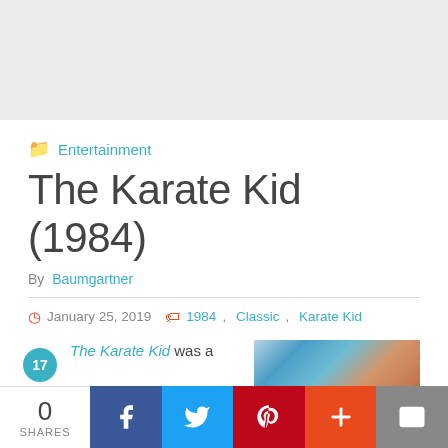[Figure (other): Gray advertisement banner at top of page]
Entertainment
The Karate Kid (1984)
By Baumgartner
January 25, 2019   1984,  Classic,  Karate Kid
The Karate Kid was a
[Figure (photo): Movie still from The Karate Kid (1984) showing close-up of faces]
0 SHARES
Facebook share button
Twitter share button
Pinterest share button
Plus share button
Email share button